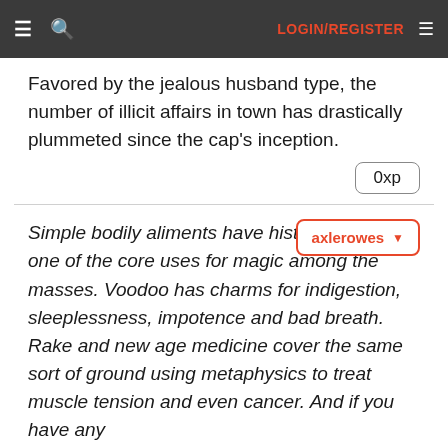≡  🔍   LOGIN/REGISTER  ≡
Favored by the jealous husband type, the number of illicit affairs in town has drastically plummeted since the cap's inception.
0xp
Simple bodily aliments have historically been one of the core uses for magic among the masses. Voodoo has charms for indigestion, sleeplessness, impotence and bad breath. Rake and new age medicine cover the same sort of ground using metaphysics to treat muscle tension and even cancer. And if you have any
axlerowes ▾